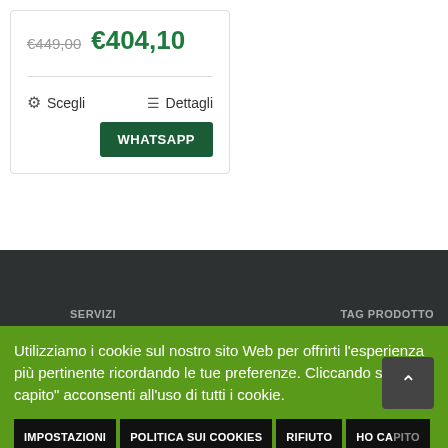€449,00  €404,10
⚙ Scegli   ☰ Dettagli
WHATSAPP
SERVIZI
TAG PRODOTTO
Utilizziamo i cookie sul nostro sito Web per offrirti l'esperienza più pertinente ricordando le tue preferenze. Cliccando su "Ho capito" acconsenti all'uso di tutti i cookie.
IMPOSTAZIONI
POLITICA SUI COOKIES
RIFIUTO
HO CAPITO